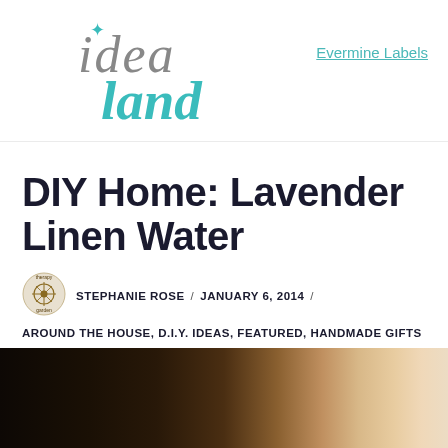[Figure (logo): Idealand blog logo — stylized text 'idea land' with star, teal/turquoise script font for 'land']
Evermine Labels
DIY Home: Lavender Linen Water
[Figure (illustration): Small circular Garden Therapy blog avatar/logo]
STEPHANIE ROSE / JANUARY 6, 2014 /
AROUND THE HOUSE, D.I.Y. IDEAS, FEATURED, HANDMADE GIFTS IDEAS, MORE IDEAS /
3 COMMENTS
[Figure (photo): Partial photo showing a dark background with what appears to be a glass or jar, blurred/cropped at page bottom]